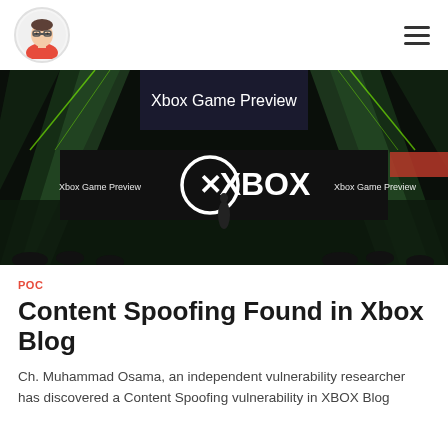Blog navigation header with avatar and hamburger menu
[Figure (photo): Xbox Game Preview event photo showing an Xbox stage presentation with large Xbox logo, green lighting effects, and audience. 'Xbox Game Preview' text visible on banners.]
POC
Content Spoofing Found in Xbox Blog
Ch. Muhammad Osama, an independent vulnerability researcher has discovered a Content Spoofing vulnerability in XBOX Blog